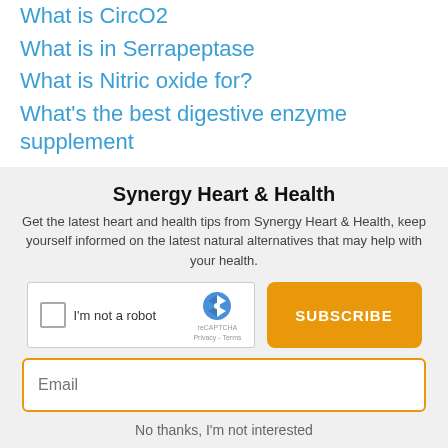What is CircO2
What is in Serrapeptase
What is Nitric oxide for?
What's the best digestive enzyme supplement
Synergy Heart & Health
Get the latest heart and health tips from Synergy Heart & Health, keep yourself informed on the latest natural alternatives that may help with your health.
[Figure (screenshot): reCAPTCHA widget with 'I'm not a robot' checkbox and reCAPTCHA logo with Privacy and Terms links]
SUBSCRIBE
Email
No thanks, I'm not interested